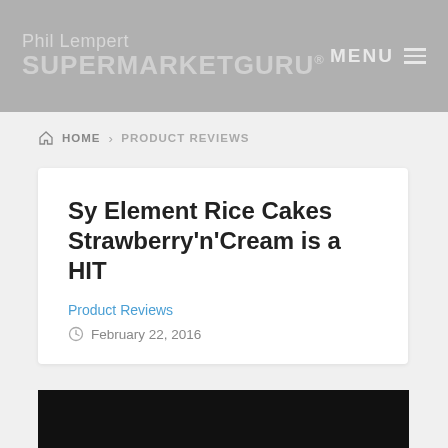Phil Lempert SUPERMARKETGURU® MENU
HOME > PRODUCT REVIEWS
Sy Element Rice Cakes Strawberry'n'Cream is a HIT
Product Reviews
February 22, 2016
[Figure (photo): Black image area at bottom of page]